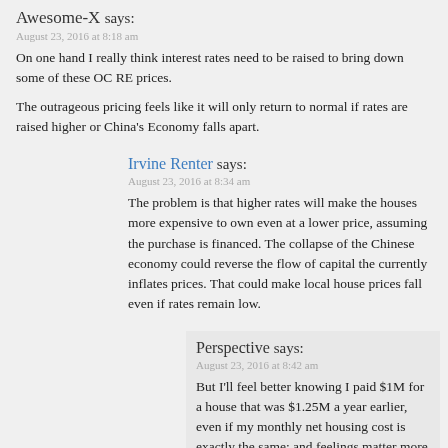Awesome-X says:
August 23, 2016 at 8:18 am
On one hand I really think interest rates need to be raised to bring down some of these OC RE prices.
The outrageous pricing feels like it will only return to normal if rates are raised higher or China's Economy falls apart.
Irvine Renter says:
August 23, 2016 at 8:34 am
The problem is that higher rates will make the houses more expensive to own even at a lower price, assuming the purchase is financed. The collapse of the Chinese economy could reverse the flow of capital the currently inflates prices. That could make local house prices fall even if rates remain low.
Perspective says:
August 23, 2016 at 8:42 am
But I'll feel better knowing I paid $1M for a house that was $1.25M a year earlier, even if my monthly net housing cost is exactly the same; and feelings matter more than facts.